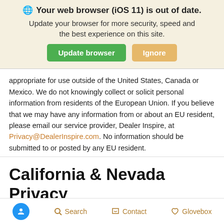[Figure (screenshot): Browser update notification banner with globe icon, bold warning text, and two buttons: green 'Update browser' and tan 'Ignore']
appropriate for use outside of the United States, Canada or Mexico. We do not knowingly collect or solicit personal information from residents of the European Union. If you believe that we may have any information from or about an EU resident, please email our service provider, Dealer Inspire, at Privacy@DealerInspire.com. No information should be submitted to or posted by any EU resident.
California & Nevada Privacy Notice – Your California Privacy Rights:
Search   Contact   Glovebox